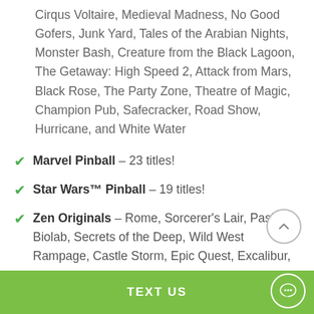Cirqus Voltaire, Medieval Madness, No Good Gofers, Junk Yard, Tales of the Arabian Nights, Monster Bash, Creature from the Black Lagoon, The Getaway: High Speed 2, Attack from Mars, Black Rose, The Party Zone, Theatre of Magic, Champion Pub, Safecracker, Road Show, Hurricane, and White Water
Marvel Pinball – 23 titles!
Star Wars™ Pinball – 19 titles!
Zen Originals – Rome, Sorcerer's Lair, Pasha, Biolab, Secrets of the Deep, Wild West Rampage, Castle Storm, Epic Quest, Excalibur, Mars, Earth Defense, Paranormal, V12, El Dorado, Tesla...
TEXT US